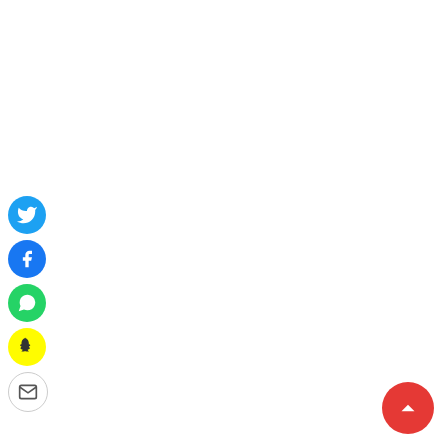[Figure (infographic): Social media share button icons stacked vertically on the left side: Twitter (blue), Facebook (blue), WhatsApp (green), Snapchat (yellow), Email (white with border). A red scroll-to-top button with an upward arrow is in the bottom-right corner.]